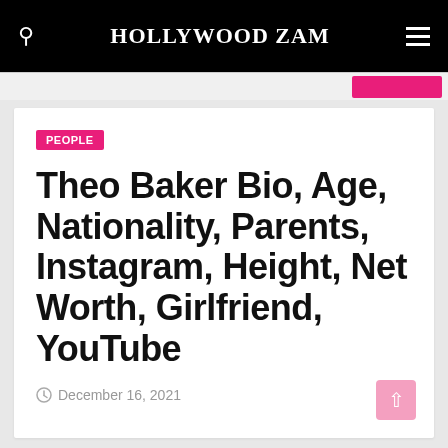HOLLYWOOD ZAM
PEOPLE
Theo Baker Bio, Age, Nationality, Parents, Instagram, Height, Net Worth, Girlfriend, YouTube
December 16, 2021